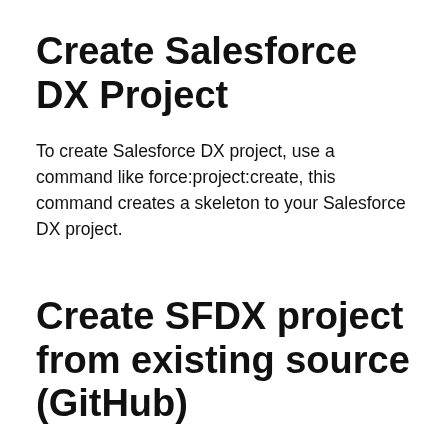Create Salesforce DX Project
To create Salesforce DX project, use a command like force:project:create, this command creates a skeleton to your Salesforce DX project.
Create SFDX project from existing source (GitHub)
This is the second method of creating